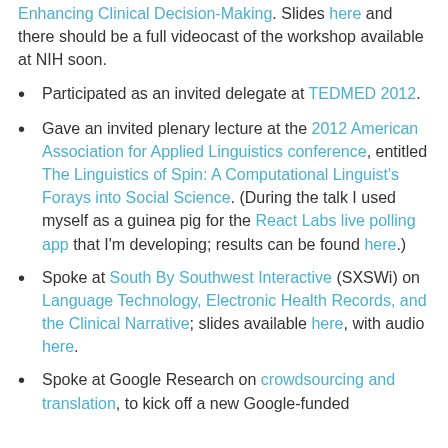Enhancing Clinical Decision-Making. Slides here and there should be a full videocast of the workshop available at NIH soon.
Participated as an invited delegate at TEDMED 2012.
Gave an invited plenary lecture at the 2012 American Association for Applied Linguistics conference, entitled The Linguistics of Spin: A Computational Linguist's Forays into Social Science. (During the talk I used myself as a guinea pig for the React Labs live polling app that I'm developing; results can be found here.)
Spoke at South By Southwest Interactive (SXSWi) on Language Technology, Electronic Health Records, and the Clinical Narrative; slides available here, with audio here.
Spoke at Google Research on crowdsourcing and translation, to kick off a new Google-funded